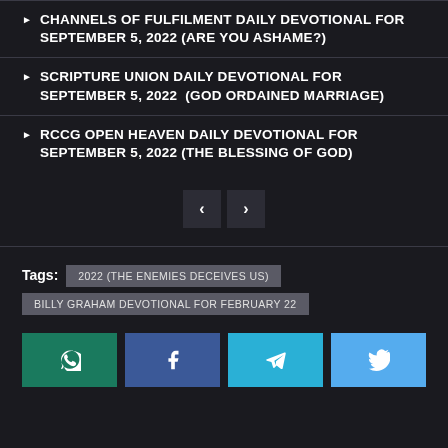CHANNELS OF FULFILMENT DAILY DEVOTIONAL FOR SEPTEMBER 5, 2022 (ARE YOU ASHAME?)
SCRIPTURE UNION DAILY DEVOTIONAL FOR SEPTEMBER 5, 2022  (GOD ORDAINED MARRIAGE)
RCCG OPEN HEAVEN DAILY DEVOTIONAL FOR SEPTEMBER 5, 2022 (THE BLESSING OF GOD)
< >
Tags: 2022 (THE ENEMIES DECEIVES US)  BILLY GRAHAM DEVOTIONAL FOR FEBRUARY 22
WhatsApp Facebook Telegram Twitter